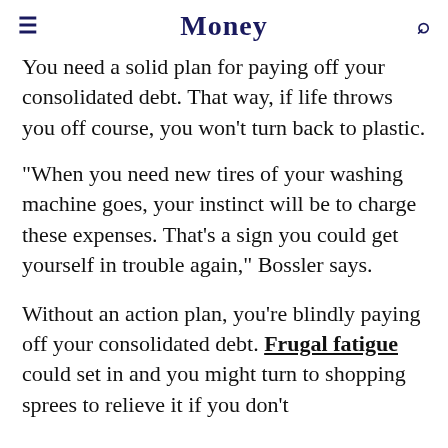Money
You need a solid plan for paying off your consolidated debt. That way, if life throws you off course, you won't turn back to plastic.
"When you need new tires of your washing machine goes, your instinct will be to charge these expenses. That's a sign you could get yourself in trouble again," Bossler says.
Without an action plan, you're blindly paying off your consolidated debt. Frugal fatigue could set in and you might turn to shopping sprees to relieve it if you don't